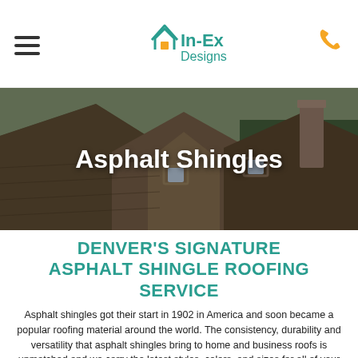In-Ex Designs
[Figure (photo): Aerial/angled view of a multi-gabled residential roof covered with asphalt/wooden shingles, with trees in the background and a chimney visible on the right side.]
Asphalt Shingles
DENVER'S SIGNATURE ASPHALT SHINGLE ROOFING SERVICE
Asphalt shingles got their start in 1902 in America and soon became a popular roofing material around the world. The consistency, durability and versatility that asphalt shingles bring to home and business roofs is unmatched and we carry the latest styles, colors, and sizes for all of your roofing needs. Whether you're planning to renovate an old roof, choose